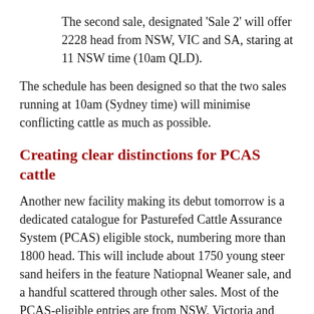The second sale, designated 'Sale 2' will offer 2228 head from NSW, VIC and SA, staring at 11 NSW time (10am QLD).
The schedule has been designed so that the two sales running at 10am (Sydney time) will minimise conflicting cattle as much as possible.
Creating clear distinctions for PCAS cattle
Another new facility making its debut tomorrow is a dedicated catalogue for Pasturefed Cattle Assurance System (PCAS) eligible stock, numbering more than 1800 head. This will include about 1750 young steer sand heifers in the feature Natiopnal Weaner sale, and a handful scattered through other sales. Most of the PCAS-eligible entries are from NSW, Victoria and SA.